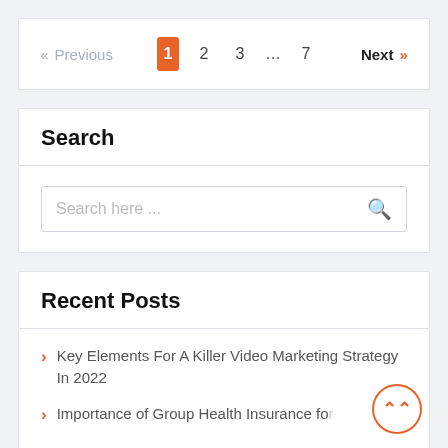<< Previous  1  2  3  …  7  Next >>
Search
Search here ...
Recent Posts
Key Elements For A Killer Video Marketing Strategy In 2022
Importance of Group Health Insurance for